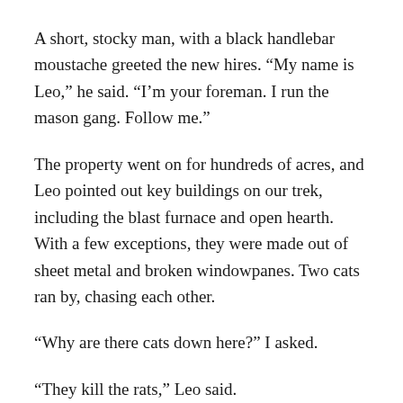A short, stocky man, with a black handlebar moustache greeted the new hires. “My name is Leo,” he said. “I’m your foreman. I run the mason gang. Follow me.”
The property went on for hundreds of acres, and Leo pointed out key buildings on our trek, including the blast furnace and open hearth. With a few exceptions, they were made out of sheet metal and broken windowpanes. Two cats ran by, chasing each other.
“Why are there cats down here?” I asked.
“They kill the rats,” Leo said.
Although my family had a long history at the mill, this was my first glimpse into their world. I was awestruck.